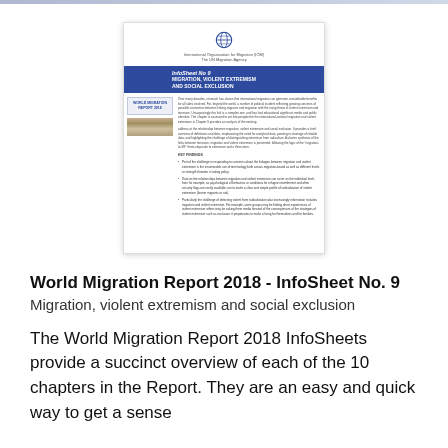[Figure (illustration): Thumbnail preview of the World Migration Report 2018 InfoSheet No. 9 document cover and first page, showing IOM logo, blue header with title 'InfoSheet No 9 Migration, Violent Extremism and Social Exclusion', and body text with bullet points.]
World Migration Report 2018 - InfoSheet No. 9
Migration, violent extremism and social exclusion
The World Migration Report 2018 InfoSheets provide a succinct overview of each of the 10 chapters in the Report. They are an easy and quick way to get a sense